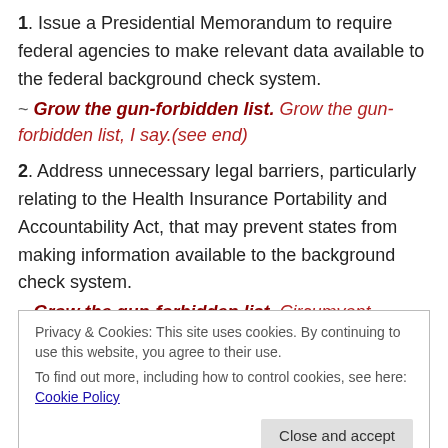1. Issue a Presidential Memorandum to require federal agencies to make relevant data available to the federal background check system.
~ Grow the gun-forbidden list. Grow the gun-forbidden list, I say.(see end)
2. Address unnecessary legal barriers, particularly relating to the Health Insurance Portability and Accountability Act, that may prevent states from making information available to the background check system.
~ Grow the gun-forbidden list. Circumvent, rewrite
Privacy & Cookies: This site uses cookies. By continuing to use this website, you agree to their use.
To find out more, including how to control cookies, see here: Cookie Policy
the background check system.